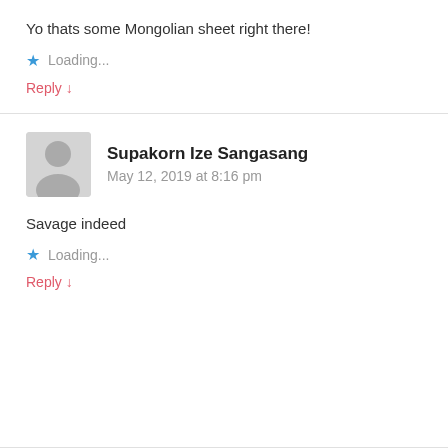Yo thats some Mongolian sheet right there!
★ Loading...
Reply ↓
Supakorn Ize Sangasang
May 12, 2019 at 8:16 pm
Savage indeed
★ Loading...
Reply ↓